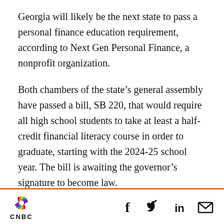Georgia will likely be the next state to pass a personal finance education requirement, according to Next Gen Personal Finance, a nonprofit organization.
Both chambers of the state's general assembly have passed a bill, SB 220, that would require all high school students to take at least a half-credit financial literacy course in order to graduate, starting with the 2024-25 school year. The bill is awaiting the governor's signature to become law.
South Carolina also may soon pass legislation mandating personal finance education. The state
[Figure (logo): CNBC logo with peacock symbol and social media icons (Facebook, Twitter, LinkedIn, Email)]